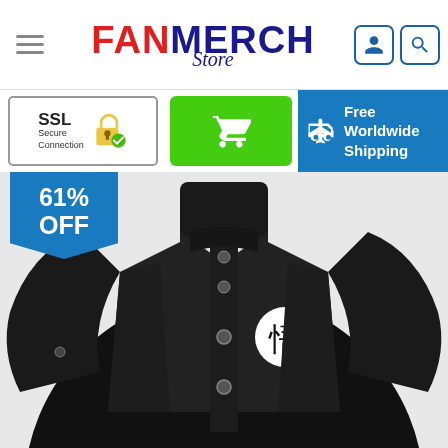[Figure (logo): FanMerch Store logo with red FAN and blue MERCH text in bold, Store in italic script below]
[Figure (infographic): SSL Secure Connection badge, green cart button, and Free Worldwide Shipping banner strip]
[Figure (photo): Black varsity bomber jacket with leather sleeves and a Japanese kanji character (悟) logo on the chest, shown on a white background with a 61% OFF badge]